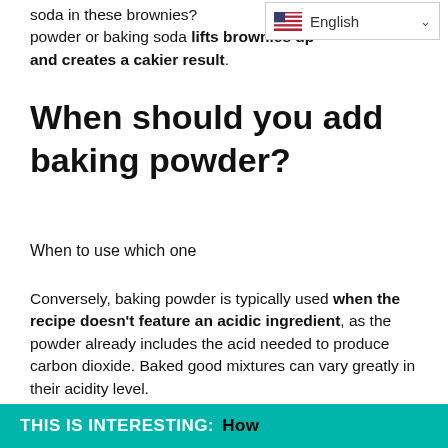soda in these brownies? powder or baking soda lifts brownies up and creates a cakier result.
[Figure (screenshot): Language selector widget showing English with US flag and dropdown arrow]
When should you add baking powder?
When to use which one
Conversely, baking powder is typically used when the recipe doesn't feature an acidic ingredient, as the powder already includes the acid needed to produce carbon dioxide. Baked good mixtures can vary greatly in their acidity level.
THIS IS INTERESTING:  How